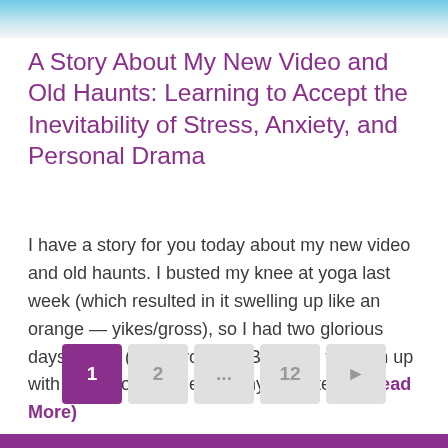[Figure (photo): Partial photo of a person at the top of the page, cropped]
A Story About My New Video and Old Haunts: Learning to Accept the Inevitability of Stress, Anxiety, and Personal Drama
I have a story for you today about my new video and old haunts. I busted my knee at yoga last week (which resulted in it swelling up like an orange — yikes/gross), so I had two glorious days in bed (thank you, Mr. Borucki!) to catch up with busy work, fiddle with my website, ... (Read More)
Pagination: 1, 2, ..., 12, ▶